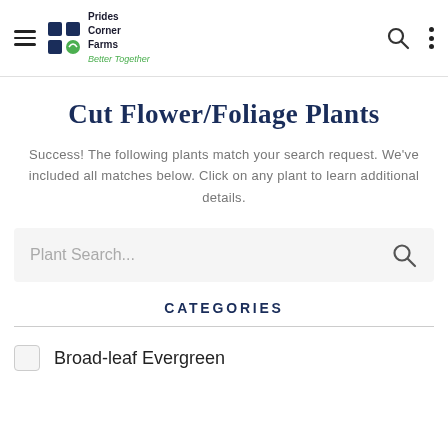Prides Corner Farms — Better Together (navigation header)
Cut Flower/Foliage Plants
Success! The following plants match your search request. We've included all matches below. Click on any plant to learn additional details.
[Figure (other): Plant search input box with search icon]
CATEGORIES
Broad-leaf Evergreen